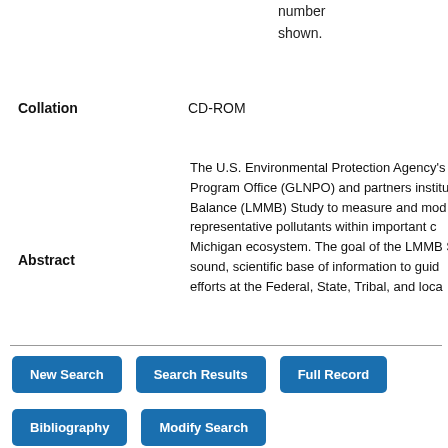number shown.
Collation   CD-ROM
Abstract
The U.S. Environmental Protection Agency's Program Office (GLNPO) and partners institu Balance (LMMB) Study to measure and mod representative pollutants within important c Michigan ecosystem. The goal of the LMMB S sound, scientific base of information to guid efforts at the Federal, State, Tribal, and loca
New Search   Search Results   Full Record
Bibliography   Modify Search
Search History